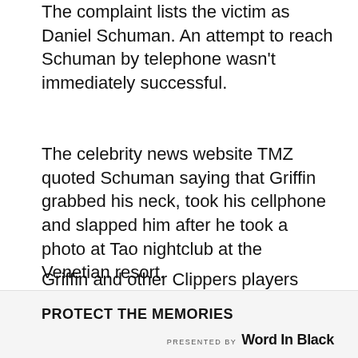The complaint lists the victim as Daniel Schuman. An attempt to reach Schuman by telephone wasn't immediately successful.
The celebrity news website TMZ quoted Schuman saying that Griffin grabbed his neck, took his cellphone and slapped him after he took a photo at Tao nightclub at the Venetian resort.
Griffin and other Clippers players were at the club after playing an exhibition game in Las Vegas against the Denver Nuggets.
PROTECT THE MEMORIES   PRESENTED BY Word In Black